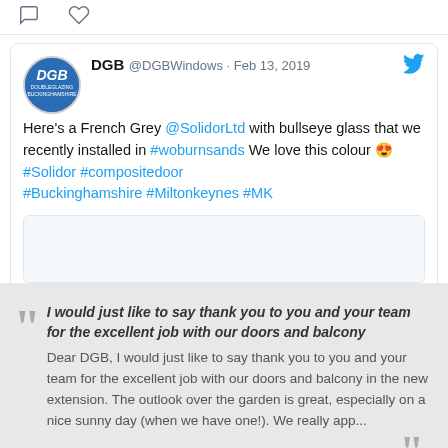[Figure (screenshot): Tweet card from DGB @DGBWindows dated Feb 13, 2019, with DGB logo, Twitter bird icon, and tweet text about a French Grey Solidor with bullseye glass installed in Woburn Sands, with hashtags.]
I would just like to say thank you to you and your team for the excellent job with our doors and balcony Dear DGB, I would just like to say thank you to you and your team for the excellent job with our doors and balcony in the new extension. The outlook over the garden is great, especially on a nice sunny day (when we have one!). We really app...